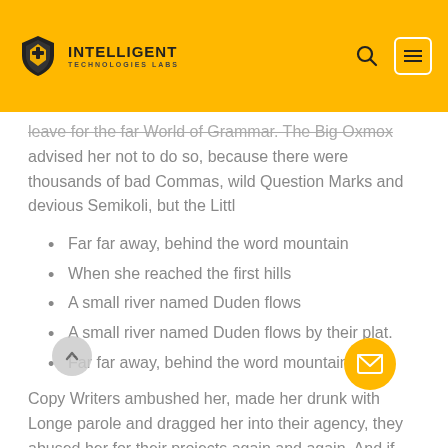INTELLIGENT TECHNOLOGIES LABS
leave for the far World of Grammar. The Big Oxmox advised her not to do so, because there were thousands of bad Commas, wild Question Marks and devious Semikoli, but the Littl
Far far away, behind the word mountain
When she reached the first hills
A small river named Duden flows
A small river named Duden flows by their plat.
Far far away, behind the word mountain
Copy Writers ambushed her, made her drunk with Longe parole and dragged her into their agency, where they abused her for their projects again and again. And if she